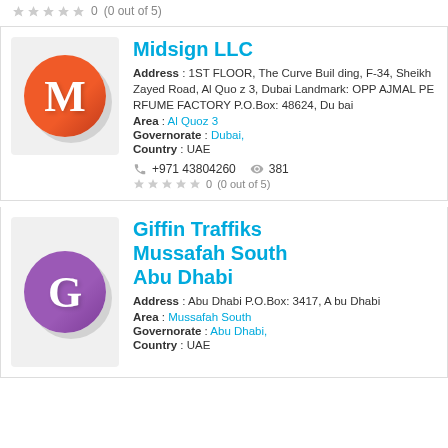0   (0 out of 5)
Midsign LLC
Address : 1ST FLOOR, The Curve Building, F-34, Sheikh Zayed Road, Al Quoz 3, Dubai Landmark: OPP AJMAL PERFUME FACTORY P.O.Box: 48624, Dubai
Area : Al Quoz 3
Governorate : Dubai,
Country : UAE
+971 43804260   381
0   (0 out of 5)
Giffin Traffiks Mussafah South Abu Dhabi
Address : Abu Dhabi P.O.Box: 3417, Abu Dhabi
Area : Mussafah South
Governorate : Abu Dhabi,
Country : UAE